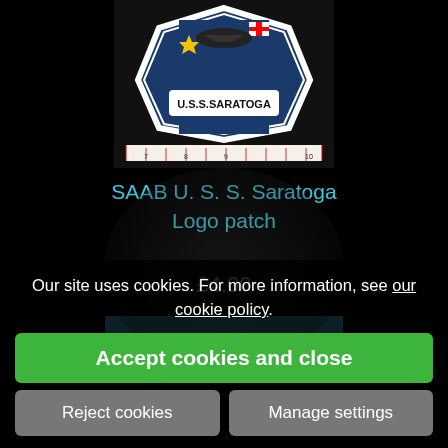[Figure (photo): Photo of U.S.S. Saratoga embroidered logo patch displayed against a black background with a ruler below it]
SAAB U. S. S. Saratoga Logo patch
£4.00
VIEW DETAILS
Our site uses cookies. For more information, see our cookie policy.
Accept cookies and close
Reject cookies
Manage settings